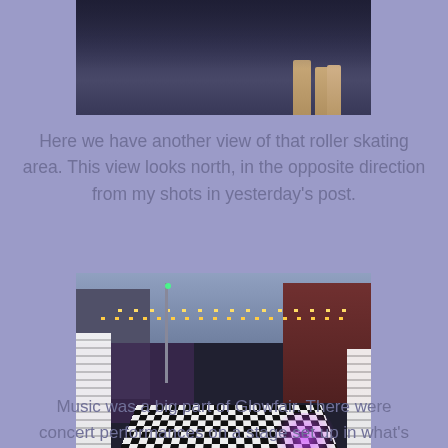[Figure (photo): Top partial photo of roller skating area, cropped showing mostly dark background with person's legs/feet visible at right side]
Here we have another view of that roller skating area. This view looks north, in the opposite direction from my shots in yesterday's post.
[Figure (photo): Nighttime street photo of Glowfair festival showing black and white checkered roller skating rink surface, string lights overhead, white barriers/fencing on sides, purple lighting effects, crowds of people, city buildings in background]
Music was a big part of Glowfair. There were concert performances on a stage set up in what's usually an offic...